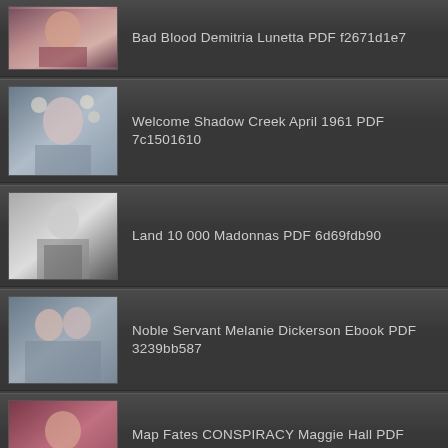Bad Blood Demitria Lunetta PDF f2671d1e7
Welcome Shadow Creek April 1961 PDF 7c1501610
Land 10 000 Madonnas PDF 6d69fdb90
Noble Servant Melanie Dickerson Ebook PDF 3239bb587
Map Fates CONSPIRACY Maggie Hall PDF 1265afd2b
Stay Silent Refugees Colombia Arrivals PDF 843a36394